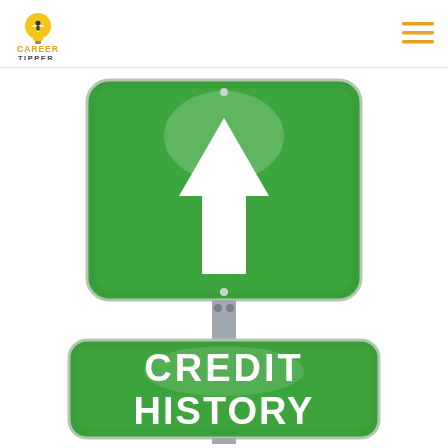[Figure (logo): Career Tipper logo — a lightbulb icon above the text CAREER TIPPER in yellow and dark colors]
[Figure (illustration): A green road sign on a pole with an upward white arrow on the top sign, and a second green sign below reading CREDIT HISTORY in bold white text]